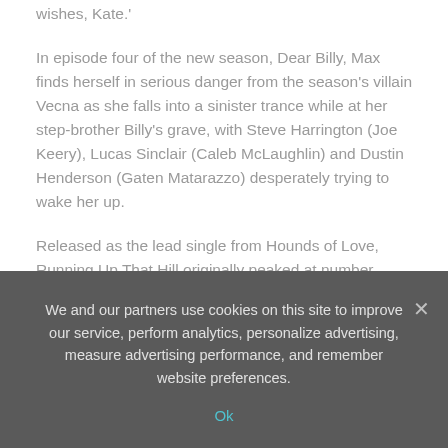wishes, Kate.'
In episode four of the new season, Dear Billy, Max finds herself in serious danger from the season's villain Vecna as she falls into a sinister trance while at her step-brother Billy's grave, with Steve Harrington (Joe Keery), Lucas Sinclair (Caleb McLaughlin) and Dustin Henderson (Gaten Matarazzo) desperately trying to wake her up.
Released as the lead single from Hounds of Love, Running Up That Hill originally peaked at number three, becoming Kate's second highest-ever charting single in the UK (after debut number one single Wuthering Heights).
Last week, Running Up That Hill shifted 48,000 chart sales – its most impressive week of sales in the UK since digital sales tracking began in 2005.
We and our partners use cookies on this site to improve our service, perform analytics, personalize advertising, measure advertising performance, and remember website preferences.
Ok